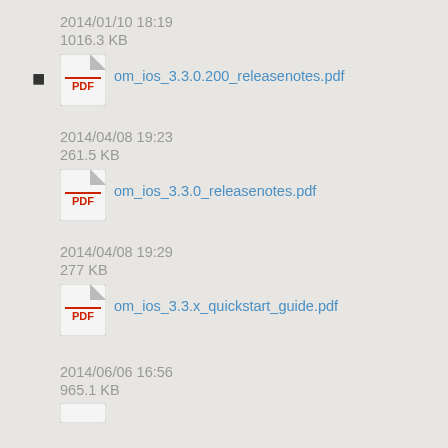2014/01/10 18:19
1016.3 KB
om_ios_3.3.0.200_releasenotes.pdf
2014/04/08 19:23
261.5 KB
om_ios_3.3.0_releasenotes.pdf
2014/04/08 19:29
277 KB
om_ios_3.3.x_quickstart_guide.pdf
2014/06/06 16:56
965.1 KB